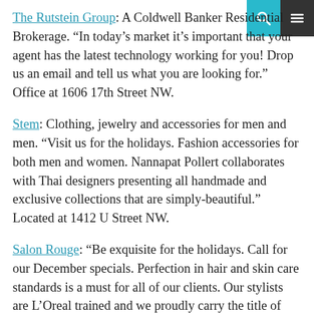[search icon] [menu icon]
The Rutstein Group: A Coldwell Banker Residential Brokerage. “In today’s market it’s important that your agent has the latest technology working for you! Drop us an email and tell us what you are looking for.” Office at 1606 17th Street NW.
Stem: Clothing, jewelry and accessories for men and men. “Visit us for the holidays. Fashion accessories for both men and women. Nannapat Pollert collaborates with Thai designers presenting all handmade and exclusive collections that are simply-beautiful.” Located at 1412 U Street NW.
Salon Rouge: “Be exquisite for the holidays. Call for our December specials. Perfection in hair and skin care standards is a must for all of our clients. Our stylists are L’Oreal trained and we proudly carry the title of “L’Oreal Professional Elite Hair Salon.” Located at 1636 17th